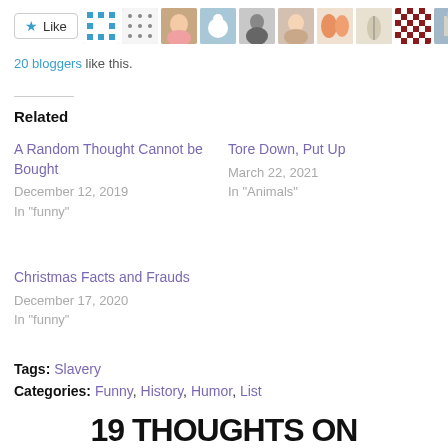[Figure (other): Like button with star icon and row of blogger avatar thumbnails]
20 bloggers like this.
Related
A Random Thought Cannot be Bought
December 12, 2019
In "funny"
Tore Down, Put Up
March 22, 2021
In "Animals"
Christmas Facts and Frauds
December 17, 2020
In "funny"
Tags: Slavery
Categories: Funny, History, Humor, List
19 THOUGHTS ON